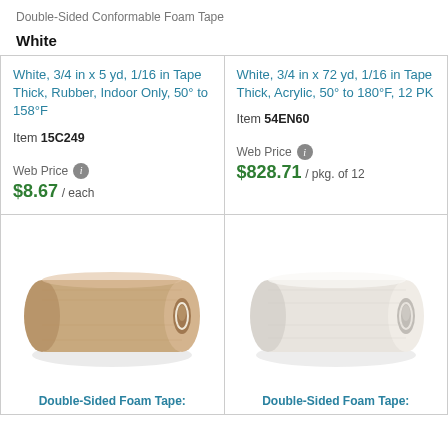Double-Sided Conformable Foam Tape
White
| Product 1 | Product 2 |
| --- | --- |
| White, 3/4 in x 5 yd, 1/16 in Tape Thick, Rubber, Indoor Only, 50° to 158°F
Item 15C249
Web Price $8.67 / each | White, 3/4 in x 72 yd, 1/16 in Tape Thick, Acrylic, 50° to 180°F, 12 PK
Item 54EN60
Web Price $828.71 / pkg. of 12 |
[Figure (photo): Roll of double-sided foam tape, tan/kraft paper color]
[Figure (photo): Roll of double-sided foam tape, white/cream color]
Double-Sided Foam Tape:
Double-Sided Foam Tape: